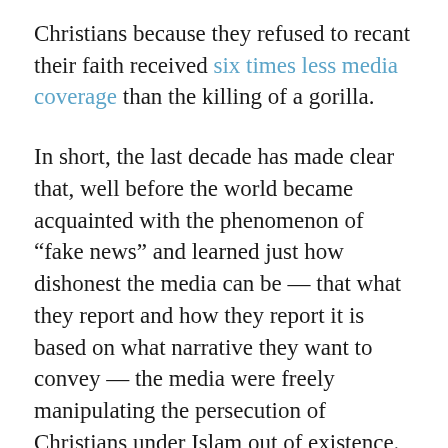Christians because they refused to recant their faith received six times less media coverage than the killing of a gorilla.
In short, the last decade has made clear that, well before the world became acquainted with the phenomenon of “fake news” and learned just how dishonest the media can be — that what they report and how they report it is based on what narrative they want to convey — the media were freely manipulating the persecution of Christians under Islam out of existence.
Similarly, many years before a good number of Americans learned that the so-called “left” — which presents itself as the party that cares about “social justice” and “human rights” — was a